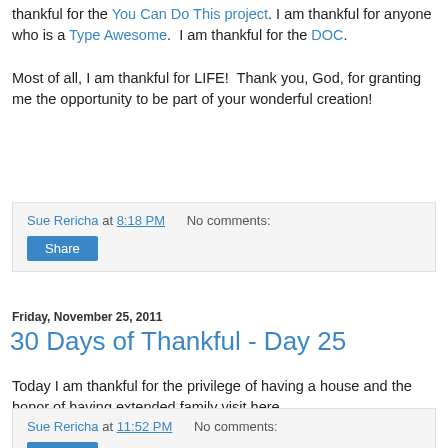thankful for the You Can Do This project. I am thankful for anyone who is a Type Awesome.  I am thankful for the DOC.
Most of all, I am thankful for LIFE!  Thank you, God, for granting me the opportunity to be part of your wonderful creation!
Sue Rericha at 8:18 PM   No comments:
Share
Friday, November 25, 2011
30 Days of Thankful - Day 25
Today I am thankful for the privilege of having a house and the honor of having extended family visit here.
Sue Rericha at 11:52 PM   No comments:
Share